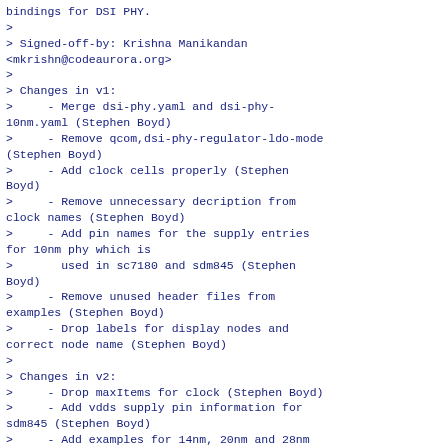bindings for DSI PHY.
>
> Signed-off-by: Krishna Manikandan <mkrishn@codeaurora.org>
>
> Changes in v1:
>     - Merge dsi-phy.yaml and dsi-phy-10nm.yaml (Stephen Boyd)
>     - Remove qcom,dsi-phy-regulator-ldo-mode (Stephen Boyd)
>     - Add clock cells properly (Stephen Boyd)
>     - Remove unnecessary decription from clock names (Stephen Boyd)
>     - Add pin names for the supply entries for 10nm phy which is
>       used in sc7180 and sdm845 (Stephen Boyd)
>     - Remove unused header files from examples (Stephen Boyd)
>     - Drop labels for display nodes and correct node name (Stephen Boyd)
>
> Changes in v2:
>     - Drop maxItems for clock (Stephen Boyd)
>     - Add vdds supply pin information for sdm845 (Stephen Boyd)
>     - Add examples for 14nm, 20nm and 28nm phy yaml files (Stephen Boyd)
>     - Keep child nodes directly under soc